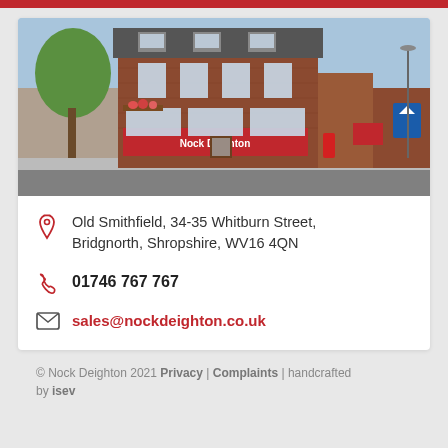[Figure (photo): Exterior photo of Nock Deighton estate agent office at Old Smithfield, Bridgnorth — a red brick Victorian building on a street with red signage]
Old Smithfield, 34-35 Whitburn Street, Bridgnorth, Shropshire, WV16 4QN
01746 767 767
sales@nockdeighton.co.uk
© Nock Deighton 2021 Privacy | Complaints | handcrafted by isev